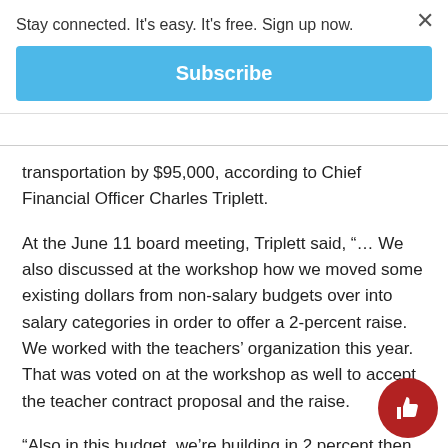Stay connected. It's easy. It's free. Sign up now.
Subscribe
transportation by $95,000, according to Chief Financial Officer Charles Triplett.
At the June 11 board meeting, Triplett said, “… We also discussed at the workshop how we moved some existing dollars from non-salary budgets over into salary categories in order to offer a 2-percent raise. We worked with the teachers’ organization this year. That was voted on at the workshop as well to accept the teacher contract proposal and the raise.
“Also in this budget, we’re building in 2 percent then for all other staff members on salary schedules or individual salaries in the case of administrators. So the 2 percent is